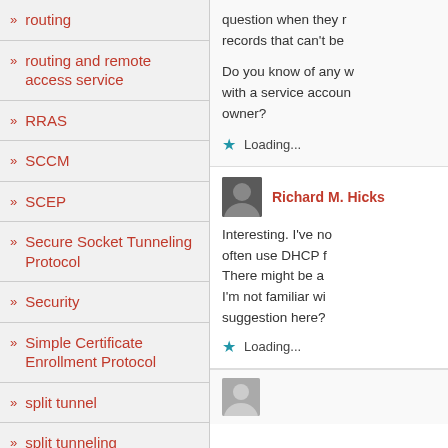» routing
» routing and remote access service
» RRAS
» SCCM
» SCEP
» Secure Socket Tunneling Protocol
» Security
» Simple Certificate Enrollment Protocol
» split tunnel
» split tunneling
» SSL
question when they r... records that can't be...
Do you know of any w... with a service accoun... owner?
Loading...
Richard M. Hicks
Interesting. I've no... often use DHCP f... There might be a... I'm not familiar wi... suggestion here?
Loading...